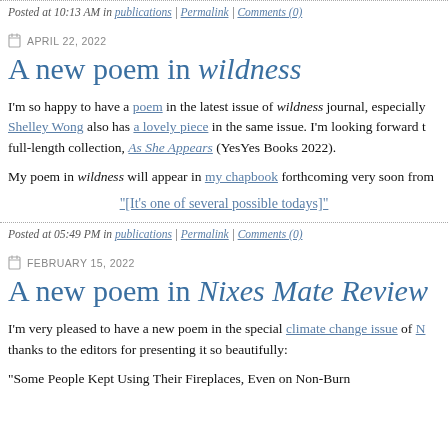Posted at 10:13 AM in publications | Permalink | Comments (0)
APRIL 22, 2022
A new poem in wildness
I'm so happy to have a poem in the latest issue of wildness journal, especially Shelley Wong also has a lovely piece in the same issue. I'm looking forward to full-length collection, As She Appears (YesYes Books 2022).
My poem in wildness will appear in my chapbook forthcoming very soon from
"[It's one of several possible todays]"
Posted at 05:49 PM in publications | Permalink | Comments (0)
FEBRUARY 15, 2022
A new poem in Nixes Mate Review
I'm very pleased to have a new poem in the special climate change issue of thanks to the editors for presenting it so beautifully:
"Some People Kept Using Their Fireplaces, Even on Non-Burn